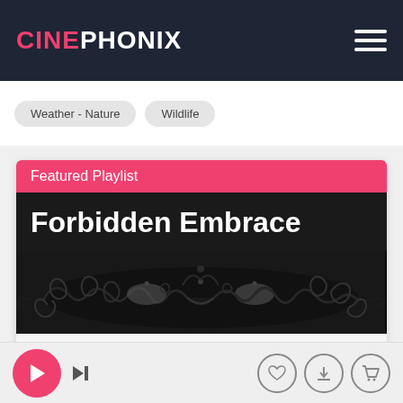CINEPHONIX
Weather - Nature
Wildlife
Featured Playlist
Forbidden Embrace
[Figure (photo): Black and white ornate venetian masquerade mask with intricate scrollwork details]
Perfect for Futuristic, Energetic - Rhythmic, Bright - Optimistic, Motivation - Success moods